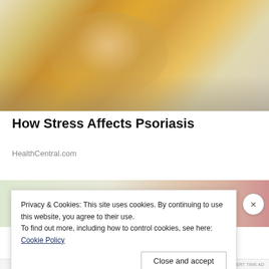[Figure (photo): Person in yellow knit sweater scratching or examining their wrist/arm, seated on a light-colored couch with pillows in the background.]
How Stress Affects Psoriasis
HealthCentral.com
[Figure (photo): Partial view of a second image, mostly out of frame, showing a light greenish-beige surface with a reddish-pink edge on the right.]
Privacy & Cookies: This site uses cookies. By continuing to use this website, you agree to their use.
To find out more, including how to control cookies, see here: Cookie Policy
Close and accept